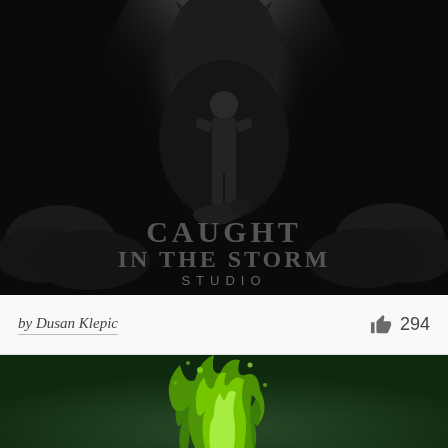[Figure (illustration): Dark black background illustration showing a silhouetted figure standing on rocky terrain with a large creature or wolf behind, dramatic lighting from above. Text reads CAUGHT IN THE STORM STUDIO in stylized gray lettering.]
by Dusan Klepic
294
[Figure (illustration): Dark green background illustration showing a glowing green flame or fire figure, stylized with bright lime green coloring on a deep forest green background.]